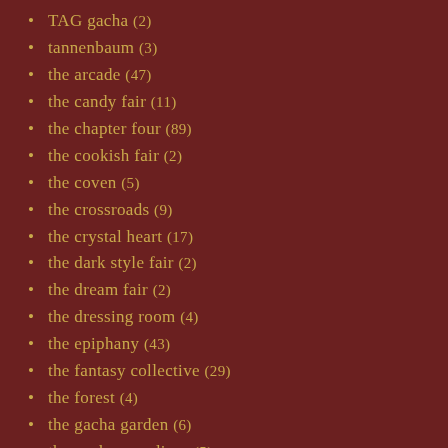TAG gacha (2)
tannenbaum (3)
the arcade (47)
the candy fair (11)
the chapter four (89)
the cookish fair (2)
the coven (5)
the crossroads (9)
the crystal heart (17)
the dark style fair (2)
the dream fair (2)
the dressing room (4)
the epiphany (43)
the fantasy collective (29)
the forest (4)
the gacha garden (6)
the gacha guardians (5)
the imaginarium (2)